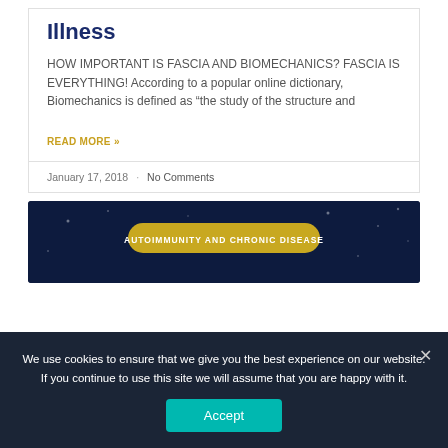Illness
HOW IMPORTANT IS FASCIA AND BIOMECHANICS? FASCIA IS EVERYTHING! According to a popular online dictionary, Biomechanics is defined as “the study of the structure and
READ MORE »
January 17, 2018 · No Comments
[Figure (other): Dark blue background image with gold pill-shaped badge reading AUTOIMMUNITY AND CHRONIC DISEASE]
We use cookies to ensure that we give you the best experience on our website. If you continue to use this site we will assume that you are happy with it.
Accept